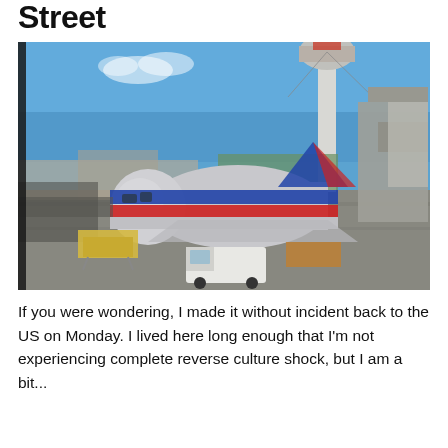Street
[Figure (photo): American Airlines aircraft parked at an airport gate with jet bridges attached. An air traffic control tower is visible in the background under a clear blue sky. Ground vehicles and equipment are visible around the plane.]
If you were wondering, I made it without incident back to the US on Monday. I lived here long enough that I'm not experiencing complete reverse culture shock, but I am a bit...